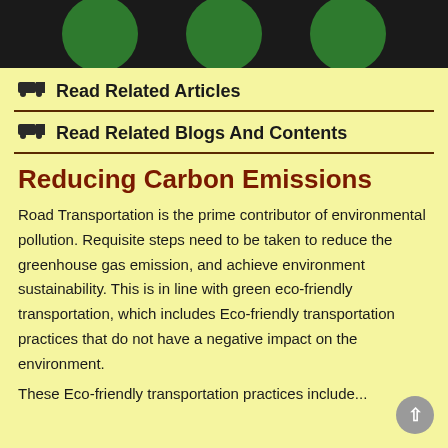[Figure (illustration): Dark background with green circular shapes at the top of the page]
🚚 Read Related Articles
🚚 Read Related Blogs And Contents
Reducing Carbon Emissions
Road Transportation is the prime contributor of environmental pollution. Requisite steps need to be taken to reduce the greenhouse gas emission, and achieve environment sustainability. This is in line with green eco-friendly transportation, which includes Eco-friendly transportation practices that do not have a negative impact on the environment.
These Eco-friendly transportation practices include...